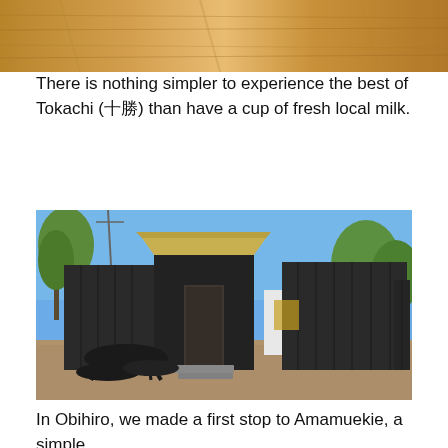[Figure (photo): Close-up of a wooden surface with warm golden-brown tones, visible wood grain texture, top portion of the page.]
There is nothing simpler to experience the best of Tokachi (十勝) than have a cup of fresh local milk.
[Figure (photo): Outdoor photo of a cafe or small shop made from black shipping containers with a tan/yellow awning over the entrance. A black picnic table and bench sit in the foreground on a gravel surface. Trees and blue sky are visible in the background.]
In Obihiro, we made a first stop to Amamuekie, a simple